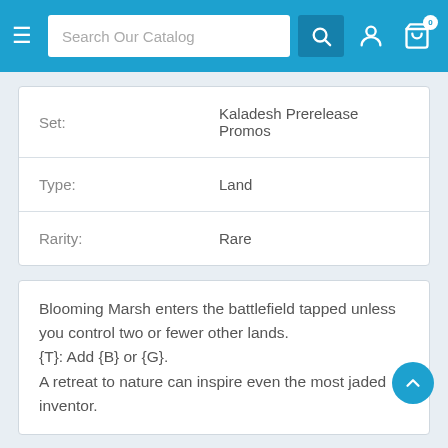[Figure (screenshot): Top navigation bar with hamburger menu, search box reading 'Search Our Catalog', search button, user icon, and cart icon with badge showing 0]
| Set: | Kaladesh Prerelease Promos |
| Type: | Land |
| Rarity: | Rare |
Blooming Marsh enters the battlefield tapped unless you control two or fewer other lands.
{T}: Add {B} or {G}.
A retreat to nature can inspire even the most jaded inventor.
Related Products